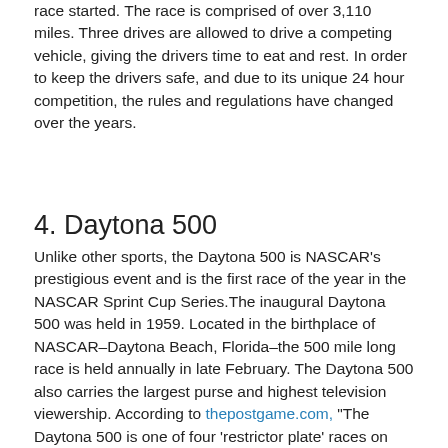race started. The race is comprised of over 3,110 miles. Three drives are allowed to drive a competing vehicle, giving the drivers time to eat and rest. In order to keep the drivers safe, and due to its unique 24 hour competition, the rules and regulations have changed over the years.
4. Daytona 500
Unlike other sports, the Daytona 500 is NASCAR's prestigious event and is the first race of the year in the NASCAR Sprint Cup Series.The inaugural Daytona 500 was held in 1959. Located in the birthplace of NASCAR–Daytona Beach, Florida–the 500 mile long race is held annually in late February. The Daytona 500 also carries the largest purse and highest television viewership. According to thepostgame.com, "The Daytona 500 is one of four 'restrictor plate' races on NASCAR's calendar, given both safety and competitive concerns for the long track and its famous 31-degree banking in its four corners." Richard Petty has the most wins, with 7 titles at Daytona.
5. Bathurst 1000
This event is held annually in early October on the Mount Panorama Circuit in Bathurst, New South Wales, Australia. As the pinnacle of